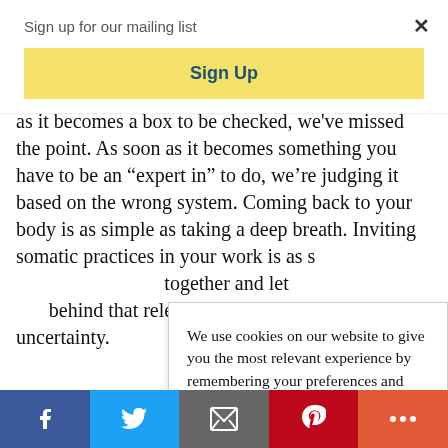Sign up for our mailing list
Sign Up
as it becomes a box to be checked, we've missed the point. As soon as it becomes something you have to be an “expert in” to do, we’re judging it based on the wrong system. Coming back to your body is as simple as taking a deep breath. Inviting somatic practices in your work is as s... together and let... behind that rele... the uncertainty. resilience by be...
We use cookies on our website to give you the most relevant experience by remembering your preferences and repeat visits. By clicking “Accept”, you consent to the use of cookies.
Accept
Facebook | Twitter | Email | Pinterest | More